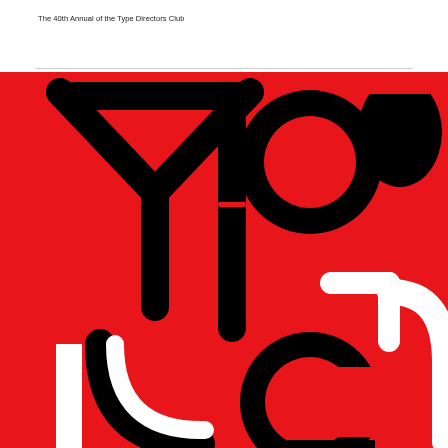The 40th Annual of the Type Directors Club
The World's Best Typography®
[Figure (illustration): Book cover design showing large abstract typographic letterforms — Y, I, O, O and partial letters — in black and white on a vivid red background, forming the word 'Typography' broken into fragments across the cover art.]